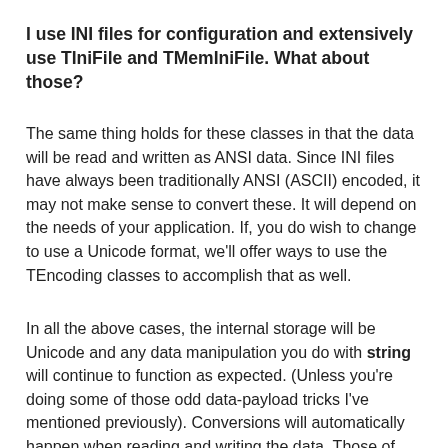I use INI files for configuration and extensively use TIniFile and TMemIniFile.  What about those?
The same thing holds for these classes in that the data will be read and written as ANSI data.  Since INI files have always been traditionally ANSI (ASCII) encoded, it may not make sense to convert these.  It will depend on the needs of your application.  If, you do wish to change to use a Unicode format, we'll offer ways to use the TEncoding classes to accomplish that as well.
In all the above cases, the internal storage will be Unicode and any data manipulation you do with string will continue to function as expected. (Unless you're doing some of those odd data-payload tricks I've mentioned previously). Conversions will automatically happen when reading and writing the data.  Those of you that are familiar with VCL for .NET, you already know how all of the above works since the